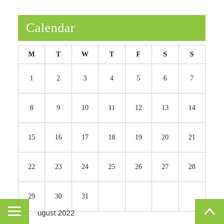Calendar
| M | T | W | T | F | S | S |
| --- | --- | --- | --- | --- | --- | --- |
| 1 | 2 | 3 | 4 | 5 | 6 | 7 |
| 8 | 9 | 10 | 11 | 12 | 13 | 14 |
| 15 | 16 | 17 | 18 | 19 | 20 | 21 |
| 22 | 23 | 24 | 25 | 26 | 27 | 28 |
| 29 | 30 | 31 |  |  |  |  |
August 2022